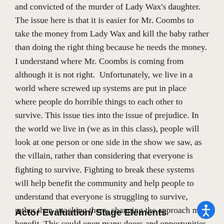and convicted of the murder of Lady Wax's daughter. The issue here is that it is easier for Mr. Coombs to take the money from Lady Wax and kill the baby rather than doing the right thing because he needs the money. I understand where Mr. Coombs is coming from although it is not right.  Unfortunately, we live in a world where screwed up systems are put in place where people do horrible things to each other to survive. This issue ties into the issue of prejudice. In the world we live in (we as in this class), people will look at one person or one side in the show we saw, as the villain, rather than considering that everyone is fighting to survive. Fighting to break these systems will help benefit the community and help people to understand that everyone is struggling to survive, rather than attacking them, changing the approach may benefit. This could open many doors and opportunities to make the world a kinder, more forgiving and accepting place.
Actor Evaluation/ Stage Elements